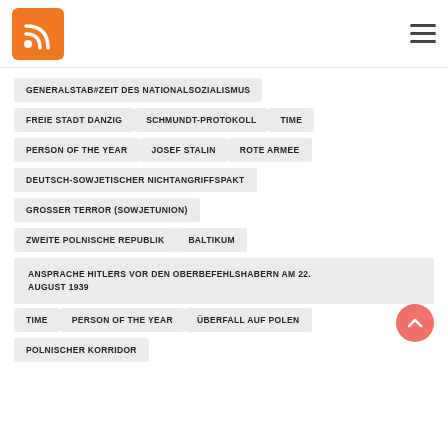RSS icon and hamburger menu
GENERALSTAB#ZEIT DES NATIONALSOZIALISMUS
FREIE STADT DANZIG
SCHMUNDT-PROTOKOLL
TIME
PERSON OF THE YEAR
JOSEF STALIN
ROTE ARMEE
DEUTSCH-SOWJETISCHER NICHTANGRIFFSPAKT
GROSSER TERROR (SOWJETUNION)
ZWEITE POLNISCHE REPUBLIK
BALTIKUM
ANSPRACHE HITLERS VOR DEN OBERBEFEHLSHABERN AM 22. AUGUST 1939
TIME
PERSON OF THE YEAR
ÜBERFALL AUF POLEN
POLNISCHER KORRIDOR